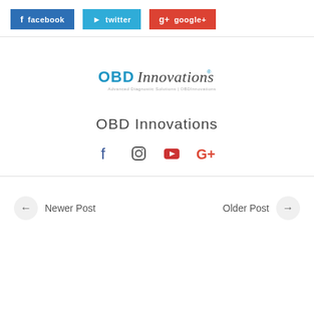facebook  twitter  google+
[Figure (logo): OBD Innovations logo with tagline]
OBD Innovations
[Figure (infographic): Social media icons: facebook, instagram, youtube, google+]
Newer Post
Older Post